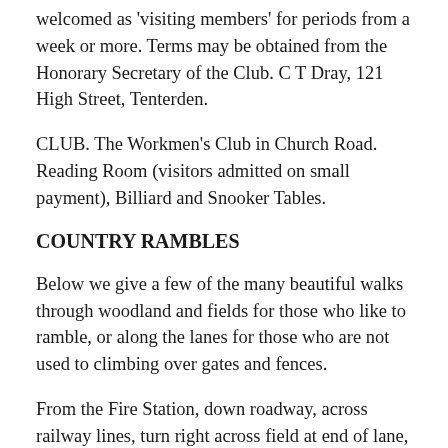welcomed as 'visiting members' for periods from a week or more. Terms may be obtained from the Honorary Secretary of the Club. C T Dray, 121 High Street, Tenterden.
CLUB. The Workmen's Club in Church Road. Reading Room (visitors admitted on small payment), Billiard and Snooker Tables.
COUNTRY RAMBLES
Below we give a few of the many beautiful walks through woodland and fields for those who like to ramble, or along the lanes for those who are not used to climbing over gates and fences.
From the Fire Station, down roadway, across railway lines, turn right across field at end of lane, through Chennell Park, follow path by house wall, cross road to mill pond, returning left up lane to park gate, turn left on main road, or